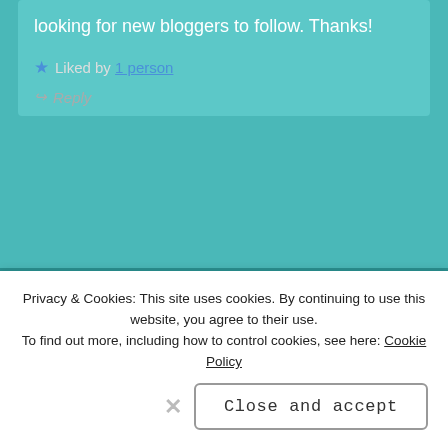looking for new bloggers to follow. Thanks!
★ Liked by 1 person
↪ Reply
ELIZA says: JUL 6, 2020 AT 08:45
Welcome to blogland!
Privacy & Cookies: This site uses cookies. By continuing to use this website, you agree to their use.
To find out more, including how to control cookies, see here: Cookie Policy